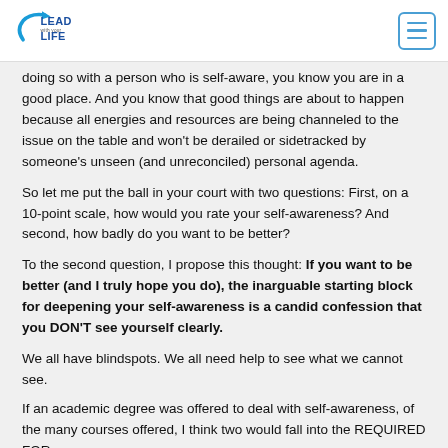Lead With Your Life
doing so with a person who is self-aware, you know you are in a good place. And you know that good things are about to happen because all energies and resources are being channeled to the issue on the table and won't be derailed or sidetracked by someone's unseen (and unreconciled) personal agenda.
So let me put the ball in your court with two questions: First, on a 10-point scale, how would you rate your self-awareness? And second, how badly do you want to be better?
To the second question, I propose this thought: If you want to be better (and I truly hope you do), the inarguable starting block for deepening your self-awareness is a candid confession that you DON'T see yourself clearly.
We all have blindspots. We all need help to see what we cannot see.
If an academic degree was offered to deal with self-awareness, of the many courses offered, I think two would fall into the REQUIRED FOR